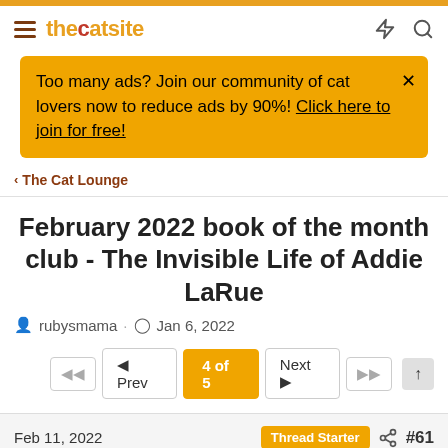thecatsite — navigation header
Too many ads? Join our community of cat lovers now to reduce ads by 90%! Click here to join for free!
The Cat Lounge
February 2022 book of the month club - The Invisible Life of Addie LaRue
rubysmama · Jan 6, 2022
4 of 5 — pagination (Prev / Next)
Feb 11, 2022  Thread Starter  #61
rubysmama